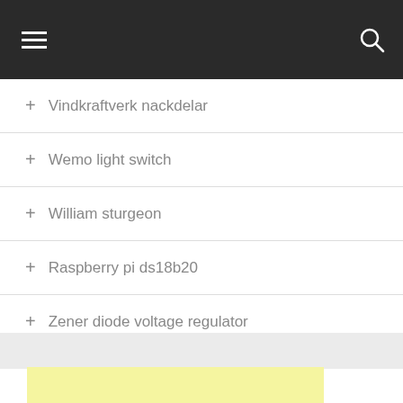+ Vindkraftverk nackdelar
+ Wemo light switch
+ William sturgeon
+ Raspberry pi ds18b20
+ Zener diode voltage regulator
[Figure (other): Yellow advertisement box at bottom of page]